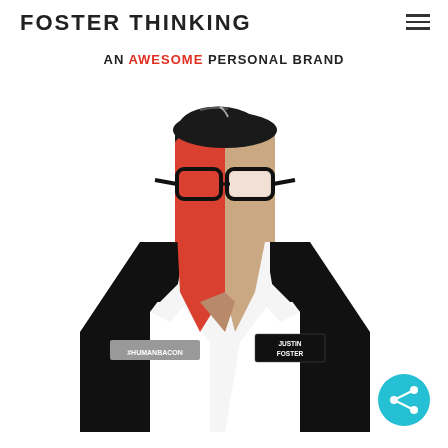FOSTER THINKING
AN AWESOME PERSONAL BRAND
[Figure (illustration): Stylized illustration of a man in a black suit with a pencil-shaped face divided into red and skin-tone halves, wearing thick-rimmed glasses. Left lapel badge reads #HUMANBACON, right lapel reads JUSTIN FOSTER.]
[Figure (other): Cyan circular share button with share icon]